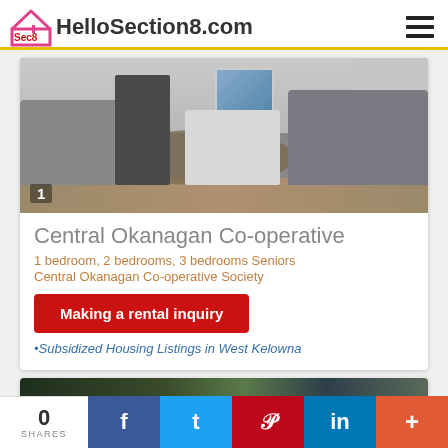HelloSection8.com
[Figure (photo): Interior living room photo showing grey sofas, a wood-burning stove, white shelving unit, art on the wall, and a rug on the floor. Number '1' badge in lower left corner.]
Central Okanagan Co-operative
1 bedroom, 2 bedrooms, 3 bedrooms Seniors
Central Okanagan Co-operative Society
Making a rental inquiry
•Subsidized Housing Listings in West Kelowna
[Figure (photo): Partial exterior photo of a residential building partially visible at the bottom of the page.]
0 SHARES | f | t | p | in | +